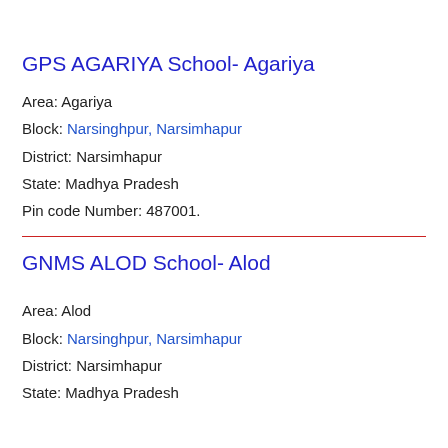GPS AGARIYA School- Agariya
Area: Agariya
Block: Narsinghpur, Narsimhapur
District: Narsimhapur
State: Madhya Pradesh
Pin code Number: 487001.
GNMS ALOD School- Alod
Area: Alod
Block: Narsinghpur, Narsimhapur
District: Narsimhapur
State: Madhya Pradesh